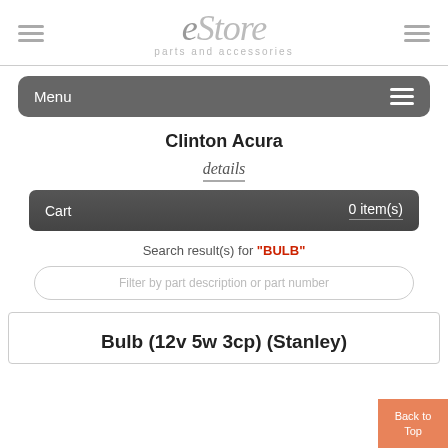eStore parts and accessories
Menu
Clinton Acura
details
Cart   0 item(s)
Search result(s) for 'BULB'
Filter by part description or part number
Bulb (12v 5w 3cp) (Stanley)